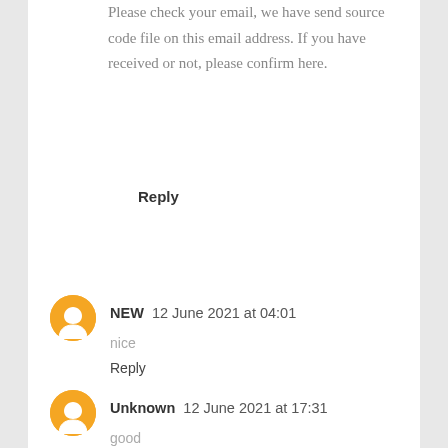Please check your email, we have send source code file on this email address. If you have received or not, please confirm here.
Reply
NEW  12 June 2021 at 04:01
nice
Reply
Unknown  12 June 2021 at 17:31
good
Reply